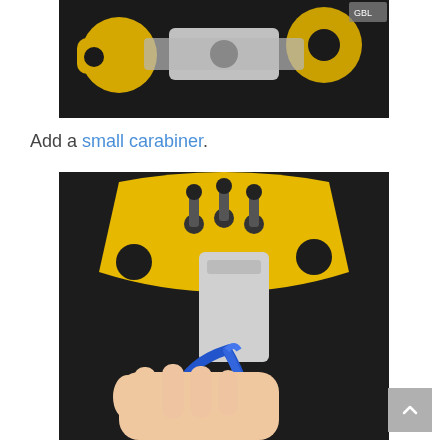[Figure (photo): Close-up photo showing yellow bracket pieces with holes and a silver metal plate/bar, set against a dark background.]
Add a small carabiner.
[Figure (photo): Photo of a yellow bracket mounted on dark surface with three screws/studs, a silver metal plate attached, and a hand holding a small blue carabiner clipped to the plate.]